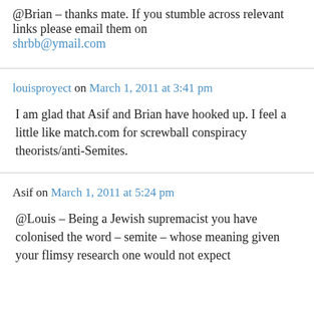@Brian – thanks mate. If you stumble across relevant links please email them on shrbb@ymail.com
louisproyect on March 1, 2011 at 3:41 pm
I am glad that Asif and Brian have hooked up. I feel a little like match.com for screwball conspiracy theorists/anti-Semites.
Asif on March 1, 2011 at 5:24 pm
@Louis – Being a Jewish supremacist you have colonised the word – semite – whose meaning given your flimsy research one would not expect